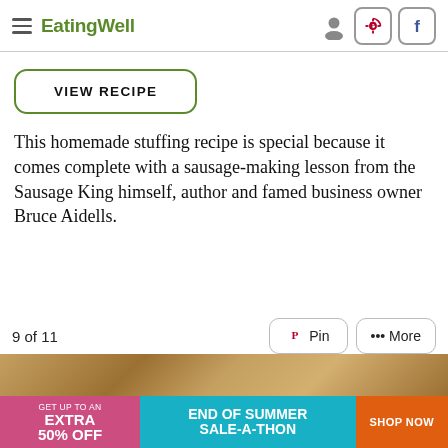EatingWell
VIEW RECIPE
This homemade stuffing recipe is special because it comes complete with a sausage-making lesson from the Sausage King himself, author and famed business owner Bruce Aidells.
9 of 11
[Figure (screenshot): Pin and More buttons at bottom right]
[Figure (photo): Food image strip showing stuffing dish]
[Figure (infographic): Advertisement banner: GET UP TO AN EXTRA 50% OFF - END OF SUMMER SALE-A-THON - SHOP NOW]